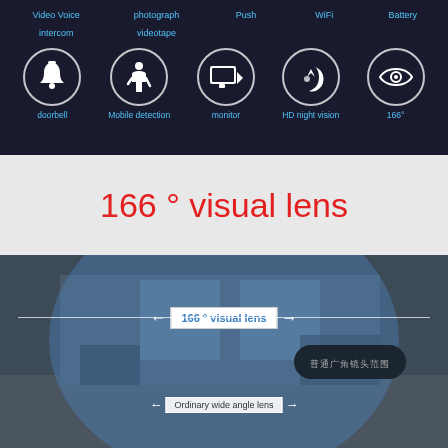[Figure (infographic): Dark background feature icons panel showing: Video Voice Intercom, photograph videotape, Push, WiFi, Battery (top row partial), doorbell, Mobile detection, monitor, HD night vision, 166° (bottom row with circular icons)]
166 ° visual lens
[Figure (photo): Photo of a room viewed through a wide-angle (166°) lens showing a large blue circular overlay representing the 166° visual field, with a white rectangle annotation reading '166 ° visual lens' with arrows spanning the full width, a dark oval badge with Chinese characters, and a smaller 'Ordinary wide angle lens' annotation with arrows at the bottom]